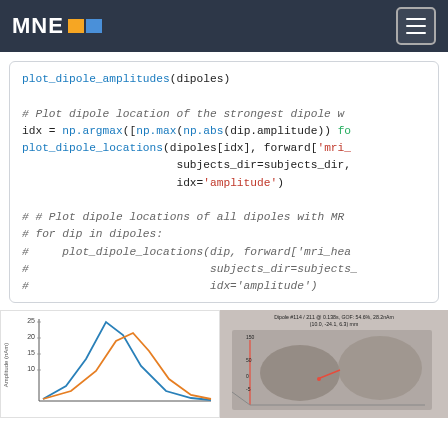MNE
plot_dipole_amplitudes(dipoles)

# Plot dipole location of the strongest dipole w...
idx = np.argmax([np.max(np.abs(dip.amplitude)) fo...
plot_dipole_locations(dipoles[idx], forward['mri_...
                       subjects_dir=subjects_dir,
                       idx='amplitude')

# # Plot dipole locations of all dipoles with MR...
# for dip in dipoles:
#     plot_dipole_locations(dip, forward['mri_hea...
#                           subjects_dir=subjects_...
#                           idx='amplitude')
[Figure (line-chart): Line chart showing dipole amplitude over time, two lines (blue and orange)]
[Figure (photo): 3D brain MRI image showing dipole location with axes, caption: Dipole #114 / 211 @ 0.138s, GOF: 54.6%, 28.2nAm (10.0, -24.1, 6.3) mm]